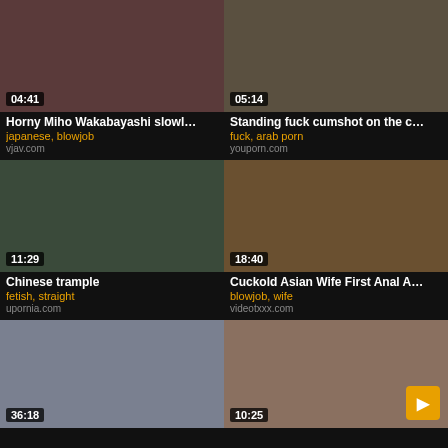[Figure (screenshot): Video thumbnail grid showing 6 adult video thumbnails with titles, tags, and site names on dark background]
Horny Miho Wakabayashi slowl...
japanese, blowjob
vjav.com
Standing fuck cumshot on the c...
fuck, arab porn
youporn.com
Chinese trample
fetish, straight
upornia.com
Cuckold Asian Wife First Anal A...
blowjob, wife
videotxxx.com